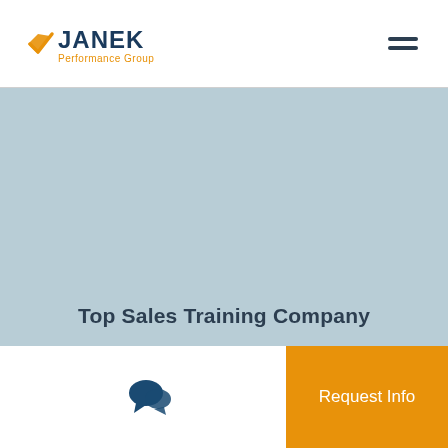JANEK Performance Group
[Figure (illustration): Light blue-grey hero banner area with no visible image content]
Top Sales Training Company
[Figure (illustration): Chat bubble icon in dark navy blue]
[Figure (illustration): Phone/call icon in dark navy blue]
Request Info